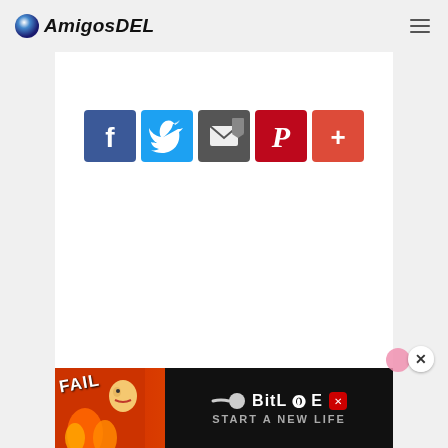AmigosDEL
[Figure (screenshot): Social media share buttons row: Facebook (blue), Twitter (blue), Email/bookmark (dark gray), Pinterest (red), Google+ (red-orange)]
[Figure (infographic): Advertisement banner at bottom: BitLife game ad with FAIL text, cartoon character, flames, and 'START A NEW LIFE' text on red/orange background]